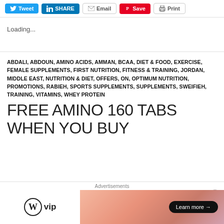[Figure (screenshot): Social sharing buttons: Tweet (Twitter/blue), SHARE (LinkedIn/blue), Email (grey), Save (Pinterest/red), Print (grey)]
Loading...
ABDALI, ABDOUN, AMINO ACIDS, AMMAN, BCAA, DIET & FOOD, EXERCISE, FEMALE SUPPLEMENTS, FIRST NUTRITION, FITNESS & TRAINING, JORDAN, MIDDLE EAST, NUTRITION & DIET, OFFERS, ON, OPTIMUM NUTRITION, PROMOTIONS, RABIEH, SPORTS SUPPLEMENTS, SUPPLEMENTS, SWEIFIEH, TRAINING, VITAMINS, WHEY PROTEIN
FREE AMINO 160 TABS WHEN YOU BUY
Advertisements
[Figure (logo): WordPress VIP logo (circle W mark with 'vip' text) on white, beside an orange-pink gradient advertisement banner with 'Learn more →' button]